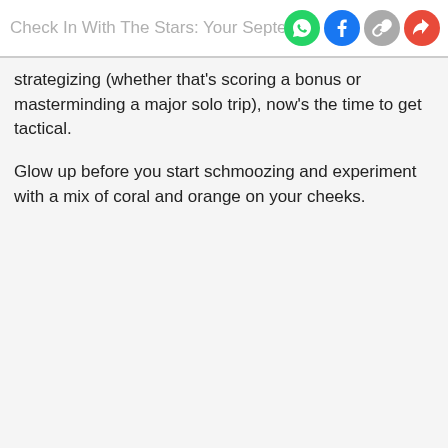Check In With The Stars: Your Septe…
strategizing (whether that's scoring a bonus or masterminding a major solo trip), now's the time to get tactical.
Glow up before you start schmoozing and experiment with a mix of coral and orange on your cheeks.